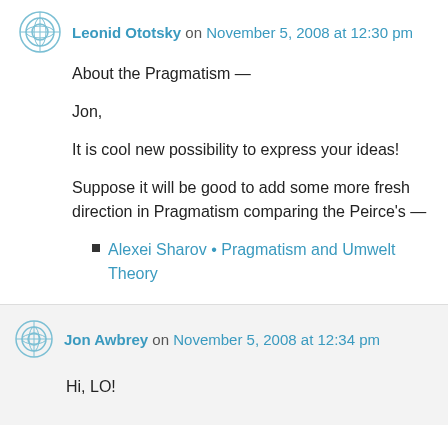Leonid Ototsky on November 5, 2008 at 12:30 pm
About the Pragmatism —
Jon,
It is cool new possibility to express your ideas!
Suppose it will be good to add some more fresh direction in Pragmatism comparing the Peirce's —
Alexei Sharov • Pragmatism and Umwelt Theory
Jon Awbrey on November 5, 2008 at 12:34 pm
Hi, LO!